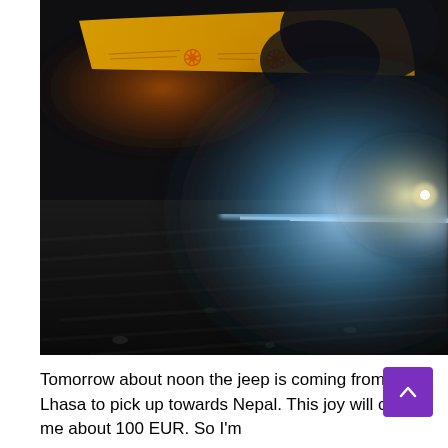[Figure (photo): A dark, blurry nighttime photograph taken from ground level or low angle. Visible elements include a yellow patterned textile or prayer flag with floral/snowflake motifs in the upper portion, a bright blue-white light beam cutting diagonally across the dark scene, and wet or textured ground surface in the lower portion. The scene appears to be outdoors at night.]
Tomorrow about noon the jeep is coming from Lhasa to pick up towards Nepal. This joy will cost me about 100 EUR. So I'm happy to say 100 EUR is about 5 times cheaper than off...